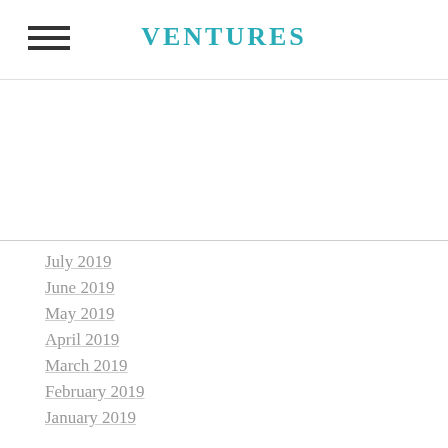VENTURES
July 2019
June 2019
May 2019
April 2019
March 2019
February 2019
January 2019
September 2018
May 2018
April 2018
March 2018
February 2018
January 2018
December 2017
November 2017
October 2017
September 2017
August 2017
July 2017